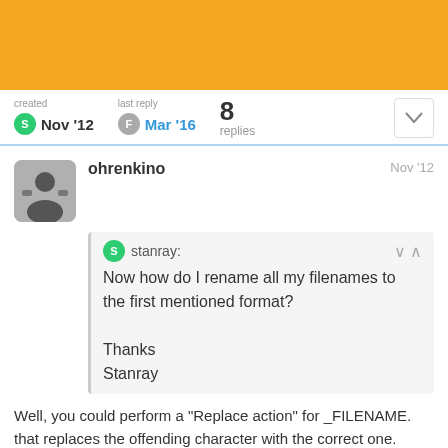created Nov '12   last reply Mar '16   8 replies
ohrenkino   Nov '12
stanray:
Now how do I rename all my filenames to the first mentioned format?

Thanks
Stanray
Well, you could perform a "Replace action" for _FILENAME. that replaces the offending character with the correct one.
Or you use the converter TAG-FILENAME
1 / 9